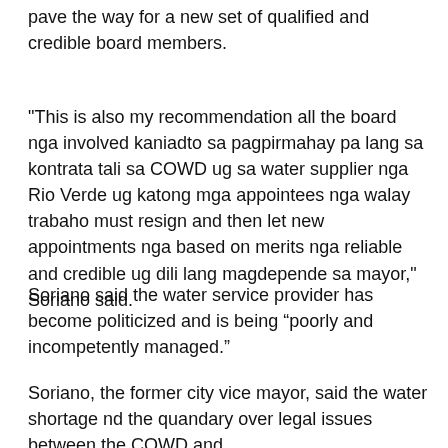pave the way for a new set of qualified and credible board members.
"This is also my recommendation all the board nga involved kaniadto sa pagpirmahay pa lang sa kontrata tali sa COWD ug sa water supplier nga Rio Verde ug katong mga appointees nga walay trabaho must resign and then let new appointments nga based on merits nga reliable and credible ug dili lang magdepende sa mayor," Soriano said.
Soriano said the water service provider has become politicized and is being “poorly and incompetently managed.”
Soriano, the former city vice mayor, said the water shortage nd the quandary over legal issues between the COWD and